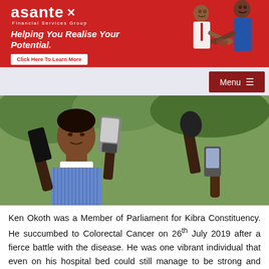[Figure (illustration): Asante Financial Services Group advertising banner. Red background with white text: 'asante' logo with X mark, 'Financial Services Group' subtitle, tagline 'Helping You Realise Your Potential.', white button 'Click Here To Learn More'. Right side shows illustrated figures of two people shaking hands.]
[Figure (other): Menu button with hamburger icon on dark red background, aligned to the right]
[Figure (photo): Press conference photo: A woman being interviewed by journalists holding microphones and recording devices toward her face. She is wearing a blue striped shirt.]
Ken Okoth was a Member of Parliament for Kibra Constituency. He succumbed to Colorectal Cancer on 26th July 2019 after a fierce battle with the disease. He was one vibrant individual that even on his hospital bed could still manage to be strong and even make plans